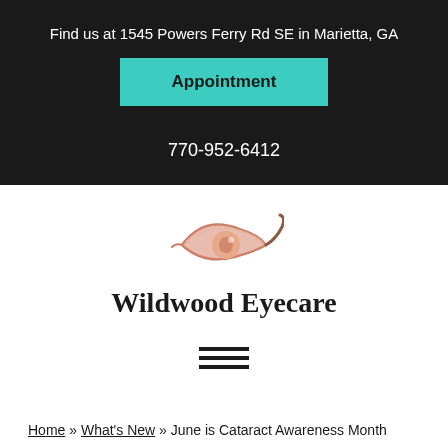Find us at 1545 Powers Ferry Rd SE in Marietta, GA
Appointment
770-952-6412
[Figure (logo): Wildwood Eyecare eye logo — a stylized eye with salmon/pink tones and a brown eyelash curl]
Wildwood Eyecare
[Figure (other): Hamburger menu icon — three horizontal black lines]
Home » What's New » June is Cataract Awareness Month